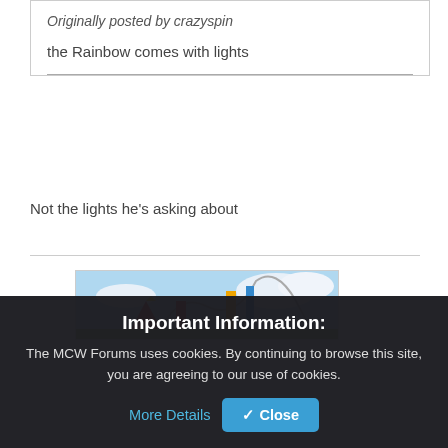Originally posted by crazyspin
the Rainbow comes with lights
Not the lights he's asking about
[Figure (photo): Partial view of a colorful amusement park scene with rides and blue sky]
Important Information:
The MCW Forums uses cookies. By continuing to browse this site, you are agreeing to our use of cookies.
More Details
Close